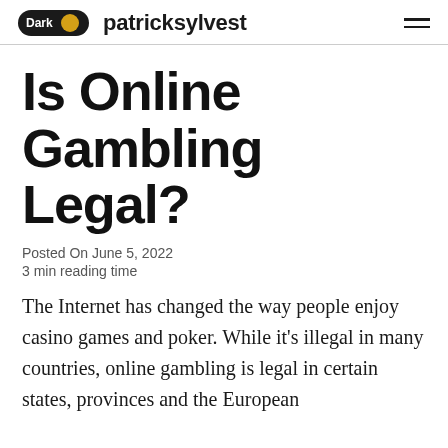Dark patricksylvest
Is Online Gambling Legal?
Posted On June 5, 2022
3 min reading time
The Internet has changed the way people enjoy casino games and poker. While it's illegal in many countries, online gambling is legal in certain states, provinces and the European